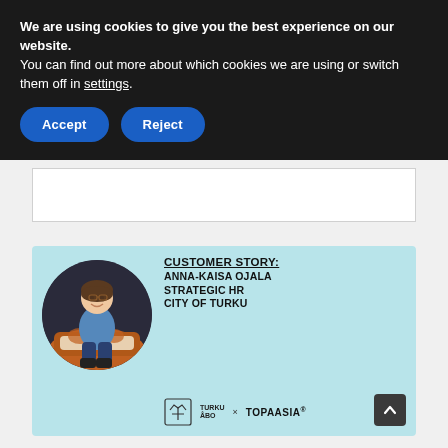We are using cookies to give you the best experience on our website.
You can find out more about which cookies we are using or switch them off in settings.
Accept
Reject
[Figure (screenshot): White empty content box below cookie banner]
[Figure (infographic): Customer story card with light blue background. Shows a circular photo of a woman sitting on a couch. Text reads: CUSTOMER STORY: ANNA-KAISA OJALA STRATEGIC HR CITY OF TURKU. Logos: Turku ÅBO and TOPAASIA®]